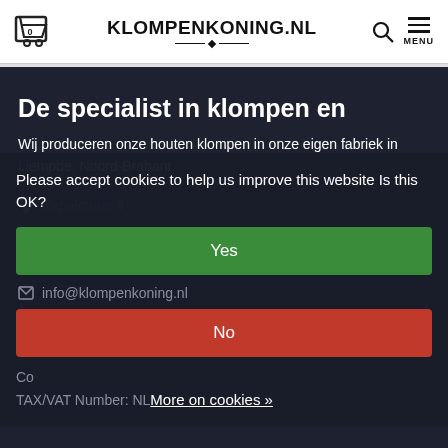KLOMPENKONING.NL
De specialist in klompen en
Wij produceren onze houten klompen in onze eigen fabriek in Liempde, Noord-Brabant.
Kapelstraat 9
Please accept cookies to help us improve this website Is this OK?
Yes
info@klompenkoning.nl
No
More on cookies »
TAX/VAT Number: NL...